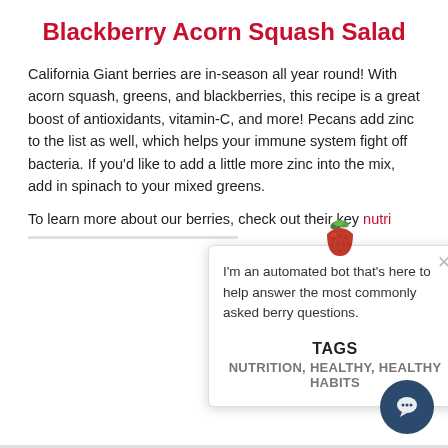Blackberry Acorn Squash Salad
California Giant berries are in-season all year round! With acorn squash, greens, and blackberries, this recipe is a great boost of antioxidants, vitamin-C, and more!  Pecans add zinc to the list as well, which helps your immune system fight off bacteria. If you'd like to add a little more zinc into the mix, add in spinach to your mixed greens.
To learn more about our berries, check out their key nutri[tional information]
[Figure (screenshot): Chat bot popup overlay with strawberry icon at top, close X button, and text: I'm an automated bot that's here to help answer the most commonly asked berry questions.]
TAGS
NUTRITION, HEALTHY, HEALTHY HABITS